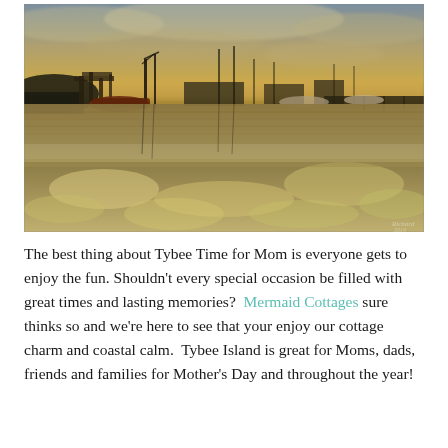[Figure (photo): A golden-hour photograph of a marina or harbor with boats docked along piers, calm reflective water in the foreground showing sky and cloud reflections, industrial dock structures in the background, moody amber and grey tones.]
The best thing about Tybee Time for Mom is everyone gets to enjoy the fun. Shouldn't every special occasion be filled with great times and lasting memories?  Mermaid Cottages sure thinks so and we're here to see that your enjoy our cottage charm and coastal calm.  Tybee Island is great for Moms, dads, friends and families for Mother's Day and throughout the year!